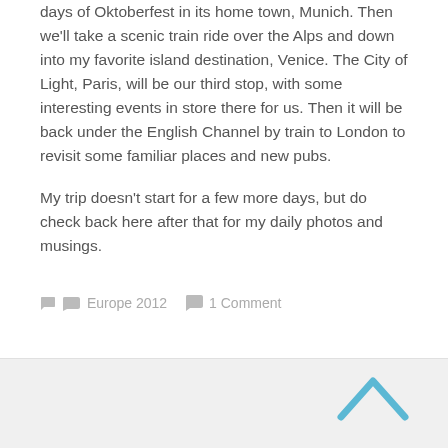days of Oktoberfest in its home town, Munich. Then we'll take a scenic train ride over the Alps and down into my favorite island destination, Venice. The City of Light, Paris, will be our third stop, with some interesting events in store there for us. Then it will be back under the English Channel by train to London to revisit some familiar places and new pubs.
My trip doesn't start for a few more days, but do check back here after that for my daily photos and musings.
Europe 2012   1 Comment